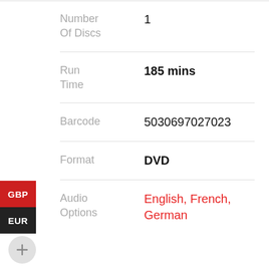Number Of Discs: 1
Run Time: 185 mins
Barcode: 5030697027023
Format: DVD
Audio Options: English, French, German